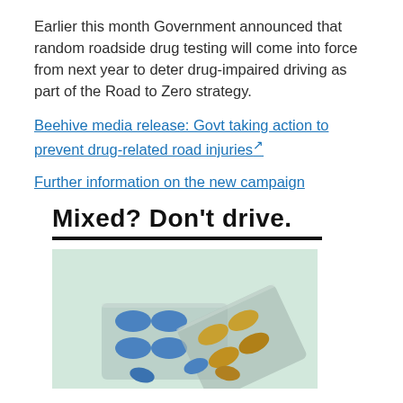Earlier this month Government announced that random roadside drug testing will come into force from next year to deter drug-impaired driving as part of the Road to Zero strategy.
Beehive media release: Govt taking action to prevent drug-related road injuries [external link]
Further information on the new campaign
[Figure (infographic): Campaign banner reading 'Mixed? Don't drive.' in bold black text with a thick underline, followed by a photo of medicine pill blister packs with blue and yellow/brown capsules on a light mint green background.]